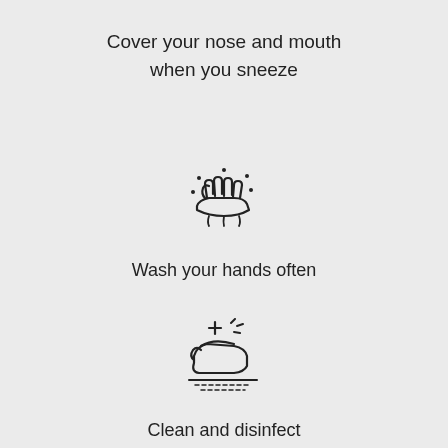Cover your nose and mouth when you sneeze
[Figure (illustration): Icon of hands washing with water droplets/bubbles around them]
Wash your hands often
[Figure (illustration): Icon of a hand with a plus/cross symbol and sparkles above it, with lines underneath suggesting a surface being disinfected]
Clean and disinfect